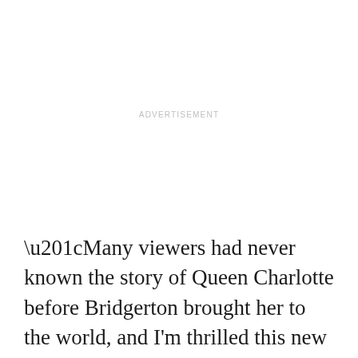ADVERTISEMENT
“Many viewers had never known the story of Queen Charlotte before Bridgerton brought her to the world, and I’m thrilled this new series will further expand her story and the world of Bridgerton,” said Bela Bajaria, Netflix’s head of